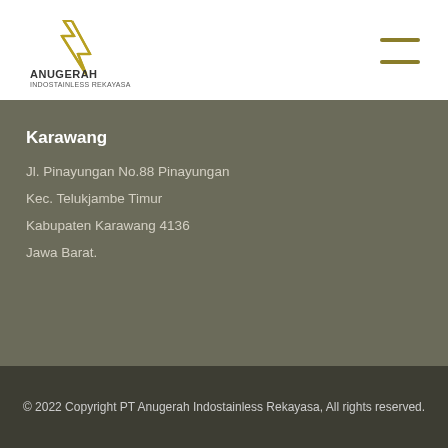[Figure (logo): Anugerah Indostainless Rekayasa company logo — a golden angular geometric shape above the text ANUGERAH INDOSTAINLESS REKAYASA]
Karawang
Jl. Pinayungan No.88 Pinayungan
Kec. Telukjambe Timur
Kabupaten Karawang 4136
Jawa Barat.
© 2022 Copyright PT Anugerah Indostainless Rekayasa, All rights reserved.